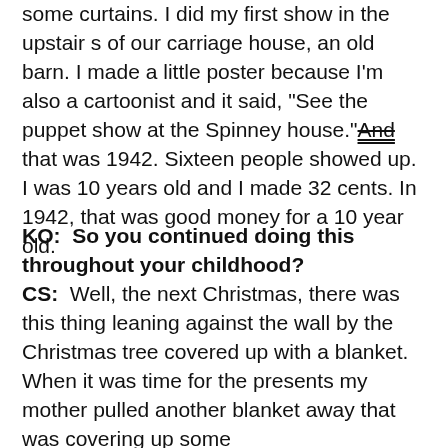some curtains. I did my first show in the upstairs of our carriage house, an old barn. I made a little poster because I'm also a cartoonist and it said, "See the puppet show at the Spinney house." And that was 1942. Sixteen people showed up. I was 10 years old and I made 32 cents. In 1942, that was good money for a 10 year old.
KO:  So you continued doing this throughout your childhood?
CS:  Well, the next Christmas, there was this thing leaning against the wall by the Christmas tree covered up with a blanket. When it was time for the presents my mother pulled another blanket away that was covering up some wonderful things down underneath that tree and